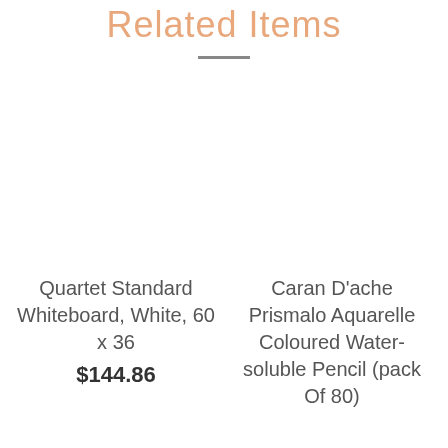Related Items
Quartet Standard Whiteboard, White, 60 x 36
$144.86
Caran D'ache Prismalo Aquarelle Coloured Water-soluble Pencil (pack Of 80)